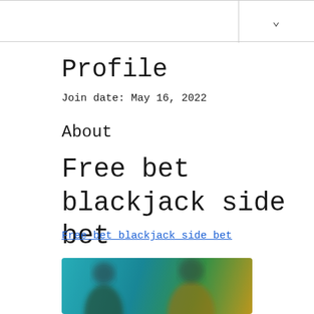Profile
Join date: May 16, 2022
About
Free bet blackjack side bet
Free bet blackjack side bet
[Figure (photo): Blurred image showing two people, appears to be a casino or gaming related scene with teal/green background]